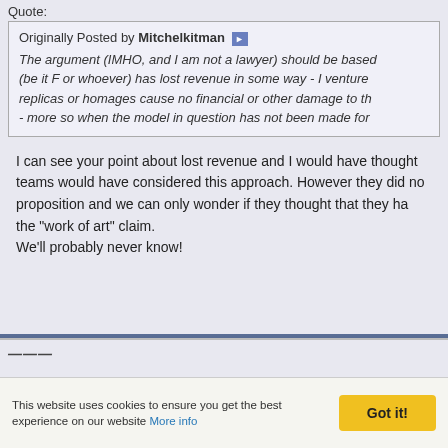Quote:
Originally Posted by Mitchelkitman
The argument (IMHO, and I am not a lawyer) should be based (be it F or whoever) has lost revenue in some way - I venture replicas or homages cause no financial or other damage to th- more so when the model in question has not been made for
I can see your point about lost revenue and I would have thought teams would have considered this approach. However they did no proposition and we can only wonder if they thought that they ha the "work of art" claim.
We'll probably never know!
27th October 2021, 10:52
This website uses cookies to ensure you get the best experience on our website More info